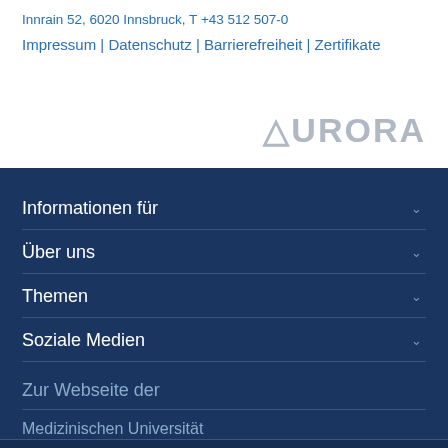Innrain 52, 6020 Innsbruck, T +43 512 507-0
Impressum | Datenschutz | Barrierefreiheit | Zertifikate
[Figure (logo): AURORA logo in grey text]
Informationen für
Über uns
Themen
Soziale Medien
Zur Webseite der
Medizinischen Universität